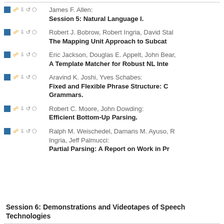James F. Allen: Session 5: Natural Language I.
Robert J. Bobrow, Robert Ingria, David Stal... The Mapping Unit Approach to Subcat...
Eric Jackson, Douglas E. Appelt, John Bear,... A Template Matcher for Robust NL Inte...
Aravind K. Joshi, Yves Schabes: Fixed and Flexible Phrase Structure: C... Grammars.
Robert C. Moore, John Dowding: Efficient Bottom-Up Parsing.
Ralph M. Weischedel, Damaris M. Ayuso, ... Ingria, Jeff Palmucci: Partial Parsing: A Report on Work in Pr...
Session 6: Demonstrations and Videotapes of Speech... Technologies